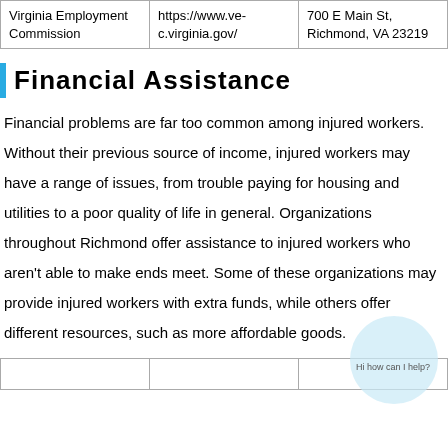| Virginia Employment Commission | https://www.vec.virginia.gov/ | 700 E Main St, Richmond, VA 23219 |
Financial Assistance
Financial problems are far too common among injured workers. Without their previous source of income, injured workers may have a range of issues, from trouble paying for housing and utilities to a poor quality of life in general. Organizations throughout Richmond offer assistance to injured workers who aren't able to make ends meet. Some of these organizations may provide injured workers with extra funds, while others offer different resources, such as more affordable goods.
|  |  |  |